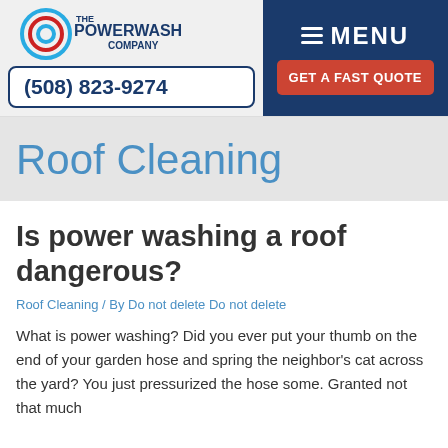[Figure (logo): The Powerwash Company logo with circular swirl graphic in blue and red]
(508) 823-9274
MENU
GET A FAST QUOTE
Roof Cleaning
Is power washing a roof dangerous?
Roof Cleaning / By Do not delete Do not delete
What is power washing? Did you ever put your thumb on the end of your garden hose and spring the neighbor's cat across the yard? You just pressurized the hose some. Granted not that much